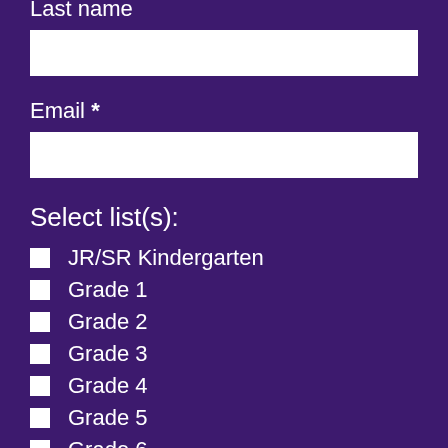Last name
Email *
Select list(s):
JR/SR Kindergarten
Grade 1
Grade 2
Grade 3
Grade 4
Grade 5
Grade 6
ESL
School News